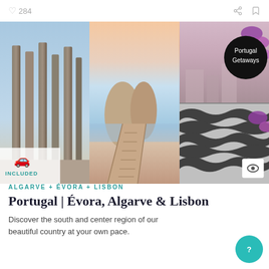♡ 284
[Figure (photo): Collage of three Portugal travel photos: ancient Roman temple columns (Évora), scenic coastal rock formations with wooden boardwalk (Algarve), and decorative cobblestone pavement with purple flowers and a 'Portugal Getaways' badge (Lisbon area). Car icon with 'INCLUDED' label and eye icon overlay.]
ALGARVE + ÉVORA + LISBON
Portugal | Évora, Algarve & Lisbon
Discover the south and center region of our beautiful country at your own pace.